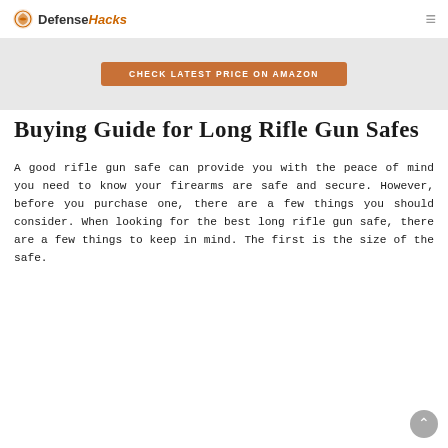DefenseHacks
[Figure (other): Orange/brown CTA button reading CHECK LATEST PRICE ON AMAZON on a light grey background strip]
Buying Guide for Long Rifle Gun Safes
A good rifle gun safe can provide you with the peace of mind you need to know your firearms are safe and secure. However, before you purchase one, there are a few things you should consider. When looking for the best long rifle gun safe, there are a few things to keep in mind. The first is the size of the safe.